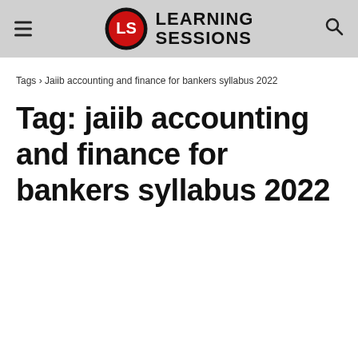Learning Sessions
Tags › Jaiib accounting and finance for bankers syllabus 2022
Tag: jaiib accounting and finance for bankers syllabus 2022